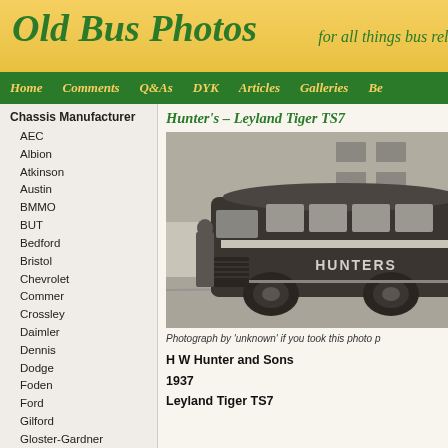Old Bus Photos — for all things bus related
Home | Comments | Q&As | DYK | Articles | Galleries | Be…
Chassis Manufacturer
AEC
Albion
Atkinson
Austin
BMMO
BUT
Bedford
Bristol
Chevrolet
Commer
Crossley
Daimler
Dennis
Dodge
Foden
Ford
Gilford
Gloster-Gardner
Graham-Dodge
Guy
Karrier
LGOC
Leyland
Hunter's – Leyland Tiger TS7
[Figure (photo): Black and white photograph of a Hunter's bus, a Leyland Tiger TS7 coach, showing the side and rear of the vehicle with 'HUNTERS' written on the side. A person stands near the front of the bus.]
Photograph by 'unknown' if you took this photo p…
H W Hunter and Sons
1937
Leyland Tiger TS7